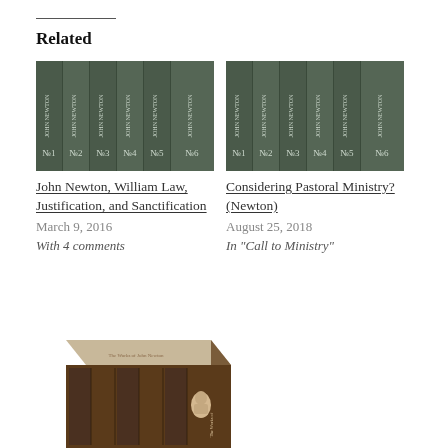Related
[Figure (photo): Row of 6 dark green book spines labeled JOHN NEWTON volumes 1-6]
John Newton, William Law, Justification, and Sanctification
March 9, 2016
With 4 comments
[Figure (photo): Row of 6 dark green book spines labeled JOHN NEWTON volumes 1-6]
Considering Pastoral Ministry? (Newton)
August 25, 2018
In "Call to Ministry"
[Figure (photo): Box set of John Newton books with portrait on the side]